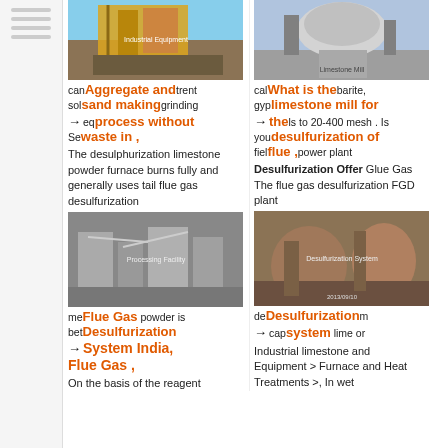[Figure (photo): Industrial aggregate/crushing equipment, yellow-colored machine outdoors]
[Figure (photo): Industrial limestone mill or silo structure outdoors]
can... that different sol... hand grinding eq... process without Se... waste in ,
Aggregate and sand making process without waste in ,
The desulphurization limestone powder furnace burns fully and generally uses tail flue gas desulfurization
cal... barite, gyp... limestone mill bt the... Is to 20-400 mesh . Is you... field power plant
What is the limestone mill for the desulfurization of flue ,
Desulfurization Offer Glue Gas The flue gas desulfurization FGD plant
[Figure (photo): Industrial dust collection or powder processing facility interior]
[Figure (photo): Industrial desulfurization system interior with large vessels]
me... powder is be... Flue Gas Desulfurization System India, Flue Gas ,
Flue Gas Desulfurization System India, Flue Gas ,
On the basis of the reagent
de... Desulfurization system ca... lime or Industrial limestone and Equipment > Furnace and Heat Treatments >, In wet
Desulfurization system